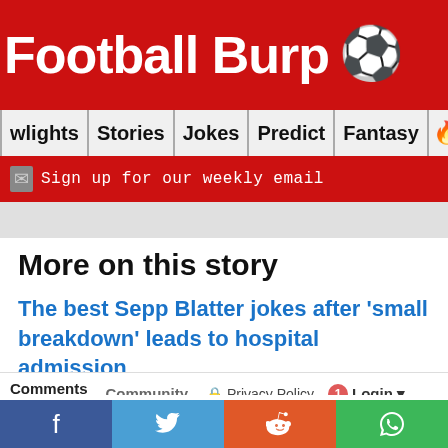Football Burp ⚽
wlights | Stories | Jokes | Predict | Fantasy 🔥🔍
✉ Sign up for our weekly email
More on this story
The best Sepp Blatter jokes after 'small breakdown' leads to hospital admission
Comments  Community  🔒 Privacy Policy  🔴1  Login ▾
♡ Favorite  Sort by Oldest ▾